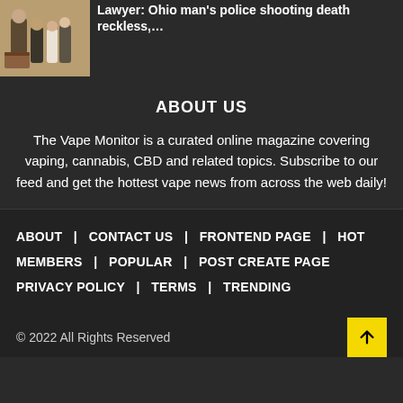[Figure (photo): Group of people at a podium/press conference]
Lawyer: Ohio man's police shooting death reckless,...
ABOUT US
The Vape Monitor is a curated online magazine covering vaping, cannabis, CBD and related topics. Subscribe to our feed and get the hottest vape news from across the web daily!
ABOUT  CONTACT US  FRONTEND PAGE  HOT MEMBERS  POPULAR  POST CREATE PAGE  PRIVACY POLICY  TERMS  TRENDING
© 2022 All Rights Reserved